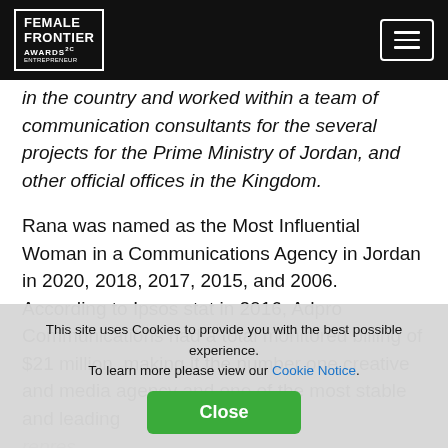Female Frontier Awards
in the country and worked within a team of communication consultants for the several projects for the Prime Ministry of Jordan, and other official offices in the Kingdom.
Rana was named as the Most Influential Woman in a Communications Agency in Jordan in 2020, 2018, 2017, 2015, and 2006. According to Ipsos stat in 2016, Adpro Communications had a total monitored billing of $21 million, making it the number one creative and media agency and one of the most stable and leading
repres...
Beyond the Agency of...arneh has dedicated a big part of her life to monarchy
This site uses Cookies to provide you with the best possible experience. To learn more please view our Cookie Notice.